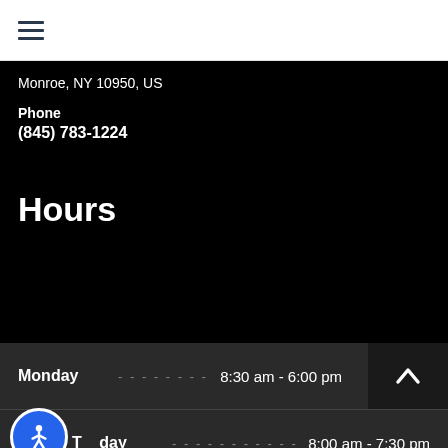☰ (hamburger menu)
Monroe, NY 10950, US
Phone
(845) 783-1224
Hours
| Day |  | Hours |
| --- | --- | --- |
| Monday | ............................... | 8:30 am - 6:00 pm |
| Tuesday | ............................... | 8:00 am - 7:30 pm |